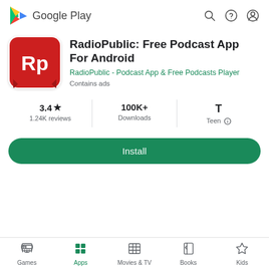[Figure (screenshot): Google Play Store header with Google Play logo on the left and search, help, and account icons on the right]
[Figure (logo): RadioPublic app icon - red background with white 'Rp' letters and red bookmark shapes]
RadioPublic: Free Podcast App For Android
RadioPublic - Podcast App & Free Podcasts Player
Contains ads
3.4★
1.24K reviews
100K+
Downloads
Teen ⓘ
Install
Games  Apps  Movies & TV  Books  Kids